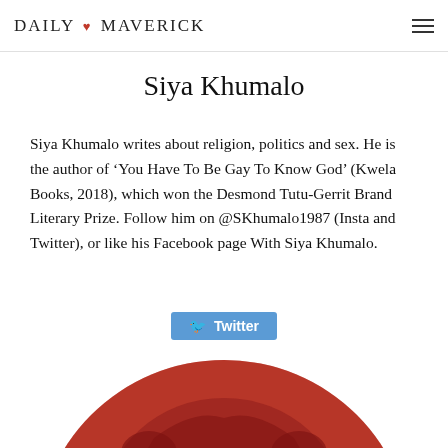DAILY MAVERICK
Siya Khumalo
Siya Khumalo writes about religion, politics and sex. He is the author of ‘You Have To Be Gay To Know God’ (Kwela Books, 2018), which won the Desmond Tutu-Gerrit Brand Literary Prize. Follow him on @SKhumalo1987 (Insta and Twitter), or like his Facebook page With Siya Khumalo.
[Figure (logo): Twitter button link with bird icon]
[Figure (logo): Daily Maverick circular logo showing DM letters over red illustrated background]